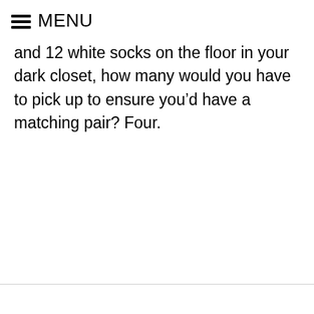MENU
and 12 white socks on the floor in your dark closet, how many would you have to pick up to ensure you’d have a matching pair? Four.